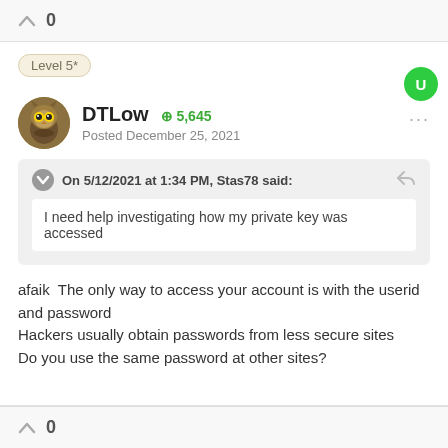0
Level 5*
DTLow  +5,645
Posted December 25, 2021
On 5/12/2021 at 1:34 PM, Stas78 said:
I need help investigating how my private key was accessed
afaik  The only way to access your account is with the userid and password
Hackers usually obtain passwords from less secure sites
Do you use the same password at other sites?
0